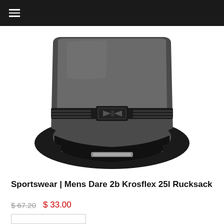≡
[Figure (photo): Close-up photo of a black and dark gray rucksack/backpack bottom view showing a buckle strap across the front, padded base, and a small reflective strip]
Sportswear | Mens Dare 2b Krosflex 25l Rucksack
$ 67.20   $ 33.00